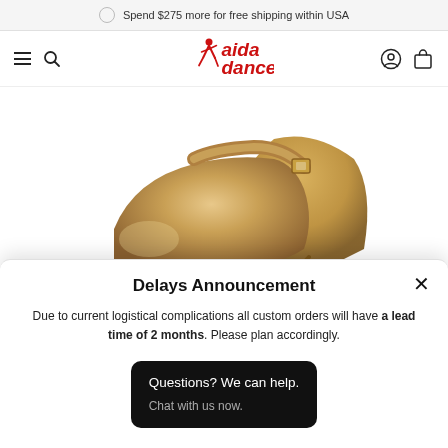Spend $275 more for free shipping within USA
[Figure (logo): Aida Dance logo in red with dancer figure]
[Figure (photo): Close-up of a gold/bronze ballroom dance shoe with ankle strap and buckle]
Delays Announcement
Due to current logistical complications all custom orders will have a lead time of 2 months. Please plan accordingly.
Questions? We can help.
Chat with us now.